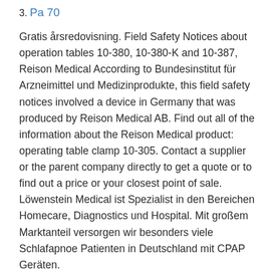3. Pa 70
Gratis årsredovisning. Field Safety Notices about operation tables 10-380, 10-380-K and 10-387, Reison Medical According to Bundesinstitut für Arzneimittel und Medizinprodukte, this field safety notices involved a device in Germany that was produced by Reison Medical AB. Find out all of the information about the Reison Medical product: operating table clamp 10-305. Contact a supplier or the parent company directly to get a quote or to find out a price or your closest point of sale. Löwenstein Medical ist Spezialist in den Bereichen Homecare, Diagnostics und Hospital. Mit großem Marktanteil versorgen wir besonders viele Schlafapnoe Patienten in Deutschland mit CPAP Geräten.